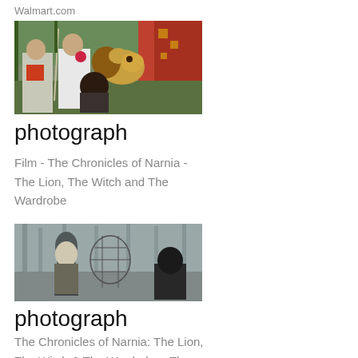Walmart.com
[Figure (photo): Movie still from The Chronicles of Narnia - The Lion, The Witch and The Wardrobe: children in medieval armour facing a lion with red banners in background]
photograph
Film - The Chronicles of Narnia - The Lion, The Witch and The Wardrobe
[Figure (photo): Movie still from The Chronicles of Narnia: The Lion, The Witch & The Wardrobe - figures in winter scene with ornate furniture]
photograph
The Chronicles of Narnia: The Lion, The Witch & The Wardrobe - The